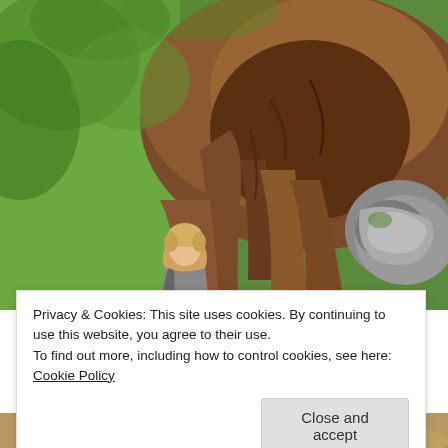[Figure (photo): Photograph of a person standing beneath a massive twisted tree root or trunk in a lush green forest. The root system is gnarled, brown, and very large, with green foliage visible in the background. A blonde person is partially visible beneath the roots.]
Privacy & Cookies: This site uses cookies. By continuing to use this website, you agree to their use.
To find out more, including how to control cookies, see here: Cookie Policy
Close and accept
[Figure (photo): Bottom portion of another photograph, partially visible at the bottom of the page.]